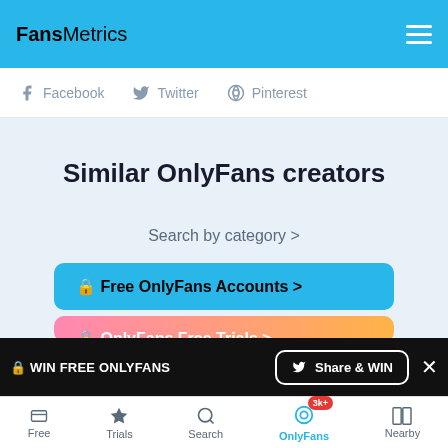FansMetrics
Facebook  Twitter  Pinterest
Similar OnlyFans creators
Search by category >
🔒 Free OnlyFans Accounts >
🔒 WIN FREE ONLYFANS   🐦 Share & WIN   ×
🔒 OnlyFans Free Trials >
Free   Trials   Search   OnlyFans 3k+   Nearby